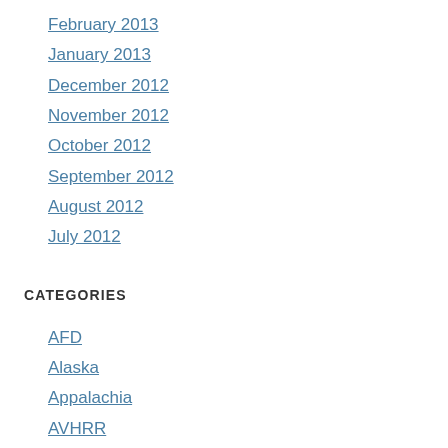February 2013
January 2013
December 2012
November 2012
October 2012
September 2012
August 2012
July 2012
CATEGORIES
AFD
Alaska
Appalachia
AVHRR
Aviation
California
Cloud Thickness